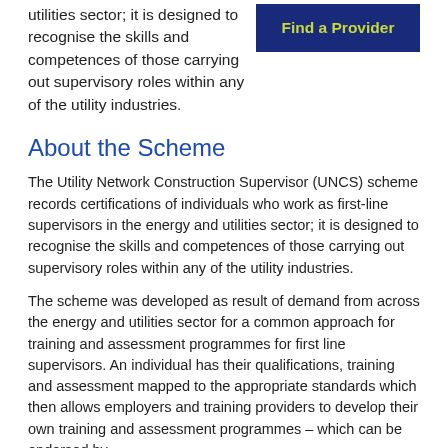utilities sector; it is designed to recognise the skills and competences of those carrying out supervisory roles within any of the utility industries.
[Figure (other): Dark blue button with yellow-green bold text reading 'Find a Provider']
About the Scheme
The Utility Network Construction Supervisor (UNCS) scheme records certifications of individuals who work as first-line supervisors in the energy and utilities sector; it is designed to recognise the skills and competences of those carrying out supervisory roles within any of the utility industries.
The scheme was developed as result of demand from across the energy and utilities sector for a common approach for training and assessment programmes for first line supervisors. An individual has their qualifications, training and assessment mapped to the appropriate standards which then allows employers and training providers to develop their own training and assessment programmes – which can be endorsed by